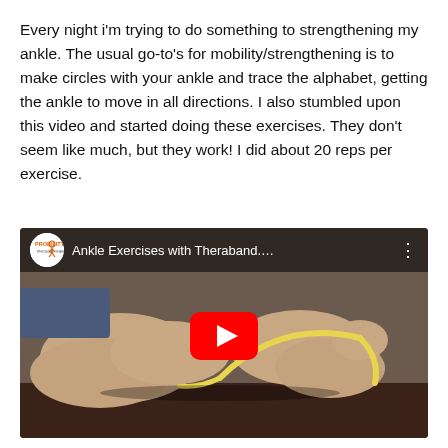Every night i'm trying to do something to strengthening my ankle. The usual go-to's for mobility/strengthening is to make circles with your ankle and trace the alphabet, getting the ankle to move in all directions. I also stumbled upon this video and started doing these exercises. They don't seem like much, but they work! I did about 20 reps per exercise.
[Figure (screenshot): YouTube video thumbnail showing 'Ankle Exercises with Theraband....' by Probility channel. Shows legs and feet with a yellow theraband/resistance band, lying on a treatment table. Red YouTube play button in the center.]